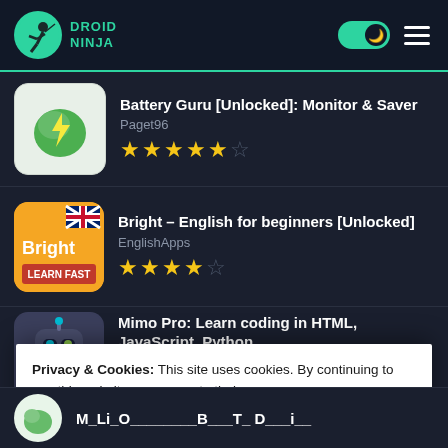DROID NINJA
Battery Guru [Unlocked]: Monitor & Saver — Paget96 — 4.5 stars
Bright – English for beginners [Unlocked] — EnglishApps — 4 stars
Mimo Pro: Learn coding in HTML, JavaScript, Python — Mimohello GmbH — stars (partially visible)
Privacy & Cookies: This site uses cookies. By continuing to use this website, you agree to their use.
To find out more, including how to control cookies, see here: Cookie Policy
Close and accept